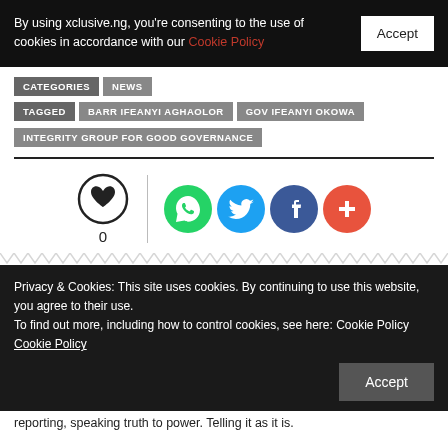By using xclusive.ng, you're consenting to the use of cookies in accordance with our Cookie Policy
CATEGORIES | NEWS
TAGGED | BARR IFEANYI AGHAOLOR | GOV IFEANYI OKOWA | INTEGRITY GROUP FOR GOOD GOVERNANCE
[Figure (other): Like button with heart icon showing count 0, and social share icons for WhatsApp, Twitter, Facebook, and a plus/more button]
Privacy & Cookies: This site uses cookies. By continuing to use this website, you agree to their use.
To find out more, including how to control cookies, see here: Cookie Policy
Cookie Policy
reporting, speaking truth to power. Telling it as it is.